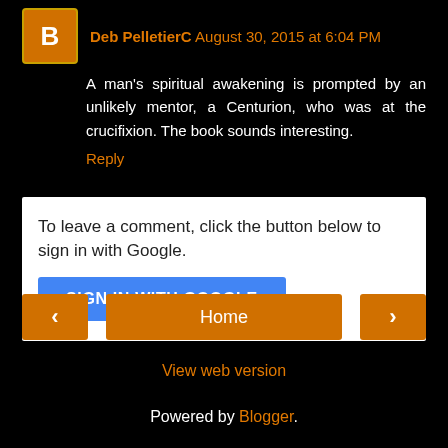[Figure (other): Blogger avatar icon — orange square with white 'B' letter logo]
Deb PelletierC August 30, 2015 at 6:04 PM
A man's spiritual awakening is prompted by an unlikely mentor, a Centurion, who was at the crucifixion. The book sounds interesting.
Reply
To leave a comment, click the button below to sign in with Google.
SIGN IN WITH GOOGLE
Home
View web version
Powered by Blogger.